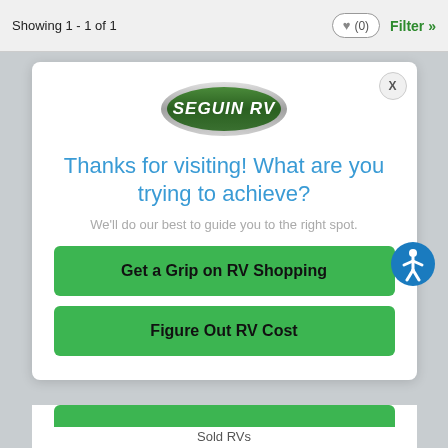Showing 1 - 1 of 1
[Figure (logo): Seguin RV green oval logo with silver outline and white italic text]
Thanks for visiting! What are you trying to achieve?
We'll do our best to guide you to the right spot.
Get a Grip on RV Shopping
Figure Out RV Cost
Sold RVs